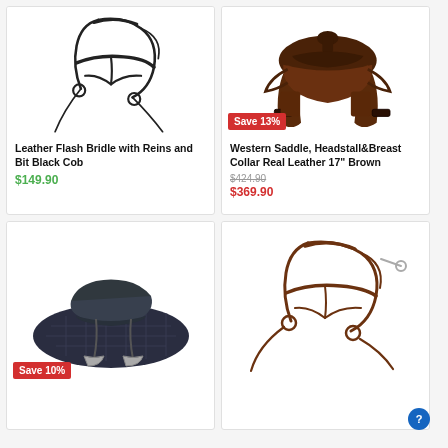[Figure (photo): Black leather flash bridle with reins and bit on white background]
Leather Flash Bridle with Reins and Bit Black Cob
$149.90
[Figure (photo): Brown western saddle with headstall and breast collar on white background, Save 13% badge]
Western Saddle, Headstall&Breast Collar Real Leather 17" Brown
$424.90
$369.90
[Figure (photo): Dark navy/grey English saddle with saddle pad, Save 10% badge]
[Figure (photo): Brown leather flash bridle with reins and bit on white background]